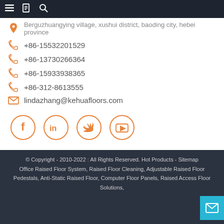Navigation bar with menu, document, and search icons
Berguzhuangying village, xushui district, baoding city, hebei province
+86-15532201529
+86-13730266364
+86-15933938365
+86-312-8613555
lindazhang@kehuafloors.com
[Figure (other): Social media icons: Facebook, LinkedIn, Twitter, YouTube — orange circle outlines]
© Copyright - 2010-2022 : All Rights Reserved. Hot Products - Sitemap Office Raised Floor System, Raised Floor Cleaning, Adjustable Raised Floor Pedestals, Anti-Static Raised Floor, Computer Floor Panels, Raised Access Floor Solutions,